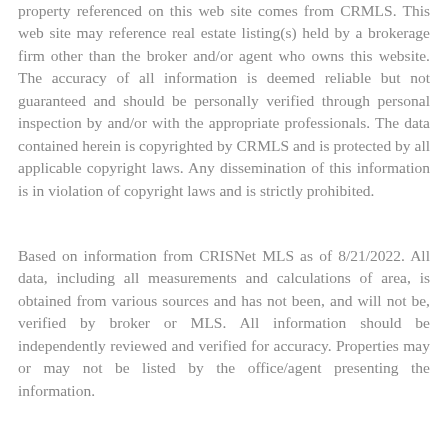property referenced on this web site comes from CRMLS. This web site may reference real estate listing(s) held by a brokerage firm other than the broker and/or agent who owns this website. The accuracy of all information is deemed reliable but not guaranteed and should be personally verified through personal inspection by and/or with the appropriate professionals. The data contained herein is copyrighted by CRMLS and is protected by all applicable copyright laws. Any dissemination of this information is in violation of copyright laws and is strictly prohibited.
Based on information from CRISNet MLS as of 8/21/2022. All data, including all measurements and calculations of area, is obtained from various sources and has not been, and will not be, verified by broker or MLS. All information should be independently reviewed and verified for accuracy. Properties may or may not be listed by the office/agent presenting the information.